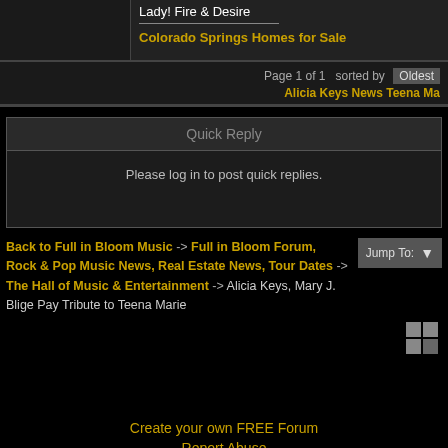Lady! Fire & Desire
Colorado Springs Homes for Sale
Page 1 of 1  sorted by  Oldest
Alicia Keys News Teena Ma
Quick Reply
Please log in to post quick replies.
Back to Full in Bloom Music -> Full in Bloom Forum, Rock & Pop Music News, Real Estate News, Tour Dates -> The Hall of Music & Entertainment -> Alicia Keys, Mary J. Blige Pay Tribute to Teena Marie
Create your own FREE Forum
Report Abuse